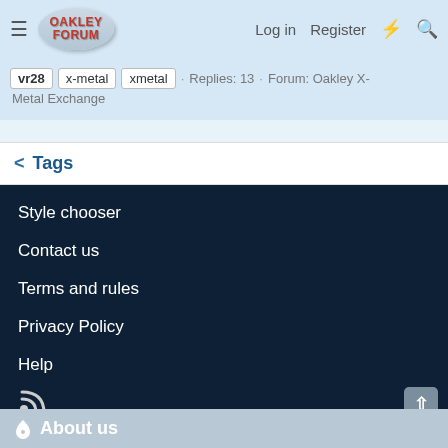Oakley Forum | Log in | Register
vr28 · x-metal · xmetal · Replies: 13 · Forum: Oakley X-Metal Exchange
Tags
Style chooser
Contact us
Terms and rules
Privacy Policy
Help
About us